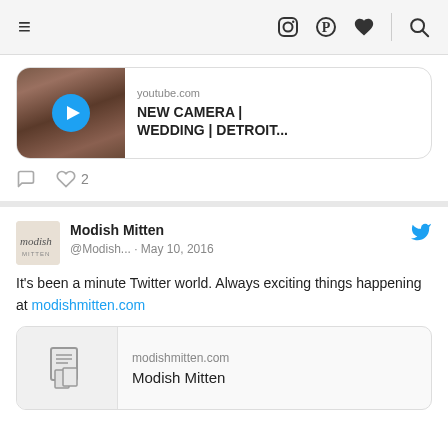Navigation bar with hamburger menu and icons
[Figure (screenshot): YouTube video link card showing a woman with dark hair, with a play button overlay. Text shows youtube.com and NEW CAMERA | WEDDING | DETROIT...]
It's been a minute Twitter world. Always exciting things happening at modishmitten.com
[Figure (screenshot): Tweet from Modish Mitten @Modish... May 10, 2016 with link card to modishmitten.com showing Modish Mitten title]